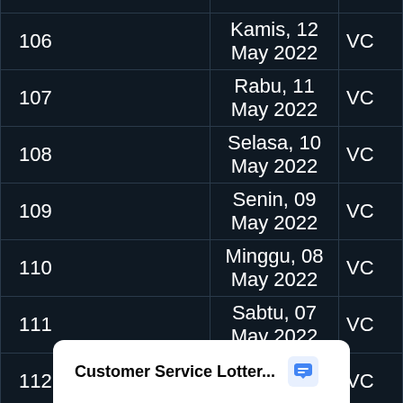| No | Tanggal | VC |
| --- | --- | --- |
| 106 | Kamis, 12 May 2022 | VC |
| 107 | Rabu, 11 May 2022 | VC |
| 108 | Selasa, 10 May 2022 | VC |
| 109 | Senin, 09 May 2022 | VC |
| 110 | Minggu, 08 May 2022 | VC |
| 111 | Sabtu, 07 May 2022 | VC |
| 112 | Ju... | VC |
Customer Service Lotter...